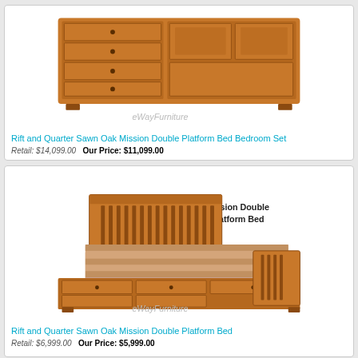[Figure (photo): Rift and Quarter Sawn Oak Mission Double Platform Bed Bedroom Set - wooden furniture with multiple drawers]
Rift and Quarter Sawn Oak Mission Double Platform Bed Bedroom Set
Retail: $14,099.00   Our Price: $11,099.00
[Figure (photo): Rift and Quarter Sawn Oak Mission Double Platform Bed with striped bedding and storage drawers underneath, labeled 'Mission Double Platform Bed']
Rift and Quarter Sawn Oak Mission Double Platform Bed
Retail: $6,999.00   Our Price: $5,999.00